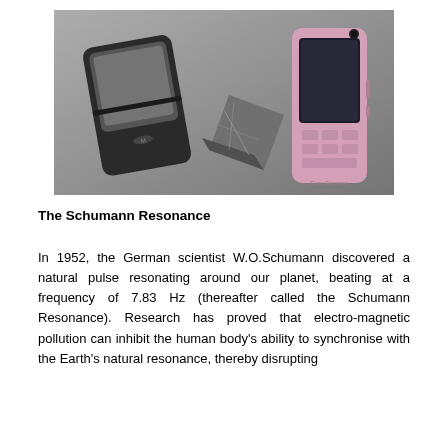[Figure (photo): Two mobile phones (a black flip phone on the left and a pink/silver candybar phone on the right) placed on a gray surface with a small dark pyramidal or angled stone/slate object between them.]
The Schumann Resonance
In 1952, the German scientist W.O.Schumann discovered a natural pulse resonating around our planet, beating at a frequency of 7.83 Hz (thereafter called the Schumann Resonance). Research has proved that electro-magnetic pollution can inhibit the human body's ability to synchronise with the Earth's natural resonance, thereby disrupting...